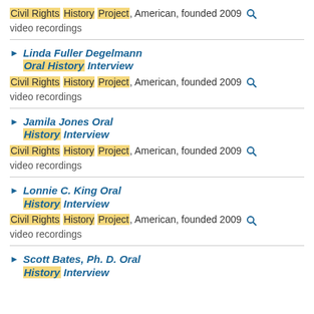Civil Rights History Project, American, founded 2009 [search icon]
video recordings
Linda Fuller Degelmann Oral History Interview
Civil Rights History Project, American, founded 2009 [search icon]
video recordings
Jamila Jones Oral History Interview
Civil Rights History Project, American, founded 2009 [search icon]
video recordings
Lonnie C. King Oral History Interview
Civil Rights History Project, American, founded 2009 [search icon]
video recordings
Scott Bates, Ph. D. Oral History Interview